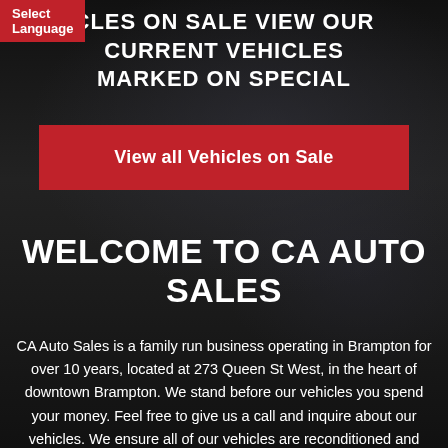Select Language
CLES ON SALE VIEW OUR CURRENT VEHICLES MARKED ON SPECIAL
View all Vehicles on Sale
WELCOME TO CA AUTO SALES
CA Auto Sales is a family run business operating in Brampton for over 10 years, located at 273 Queen St West, in the heart of downtown Brampton. We stand before our vehicles you spend your money. Feel free to give us a call and inquire about our vehicles. We ensure all of our vehicles are reconditioned and safe. We Finance